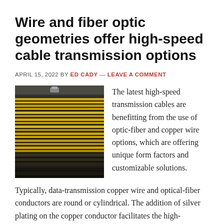Wire and fiber optic geometries offer high-speed cable transmission options
APRIL 15, 2022 BY ED CADY — LEAVE A COMMENT
[Figure (photo): Close-up photograph of layered transmission cable cross-section showing alternating copper wire and fiber optic layers in gold/yellow and dark colors]
The latest high-speed transmission cables are benefitting from the use of optic-fiber and copper wire options, which are offering unique form factors and customizable solutions.
Typically, data-transmission copper wire and optical-fiber conductors are round or cylindrical. The addition of silver plating on the copper conductor facilitates the high-frequency electrical transmission ...